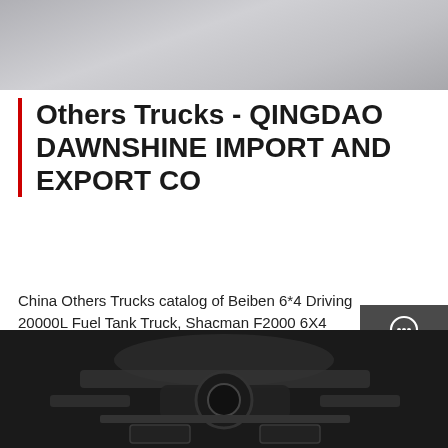[Figure (photo): Top portion of a photo, showing a light gray surface or flooring texture]
Others Trucks - QINGDAO DAWNSHINE IMPORT AND EXPORT CO
China Others Trucks catalog of Beiben 6*4 Driving 20000L Fuel Tank Truck, Shacman F2000 6X4 336HP 375HP 3 Axle Rhd LHD Cement Concrete Mixer Truck From China for Africa Asia provided by China manufacturer - QINGDAO DAWNSHINE IMPORT AND EXPORT CO., LTD., page1.
[Figure (infographic): Sidebar with dark gray background containing Chat, Email, Contact, and Top navigation icons in white]
Get a Quote
[Figure (photo): Bottom photo showing undercarriage/engine components of a truck in dark tones]